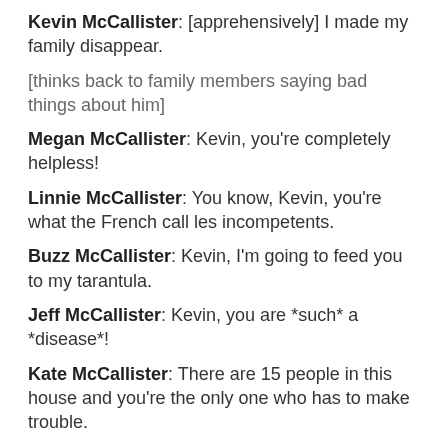Kevin McCallister: [apprehensively] I made my family disappear.
[thinks back to family members saying bad things about him]
Megan McCallister: Kevin, you're completely helpless!
Linnie McCallister: You know, Kevin, you're what the French call les incompetents.
Buzz McCallister: Kevin, I'm going to feed you to my tarantula.
Jeff McCallister: Kevin, you are *such* a *disease*!
Kate McCallister: There are 15 people in this house and you're the only one who has to make trouble.
Frank McCallister: Look what you *did*, you little